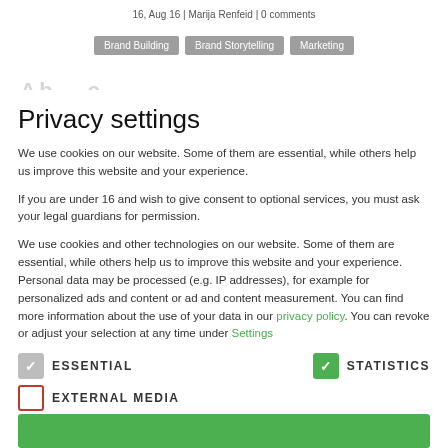16, Aug 16 | Marija Renfeid | 0 comments
Brand Building
Brand Storytelling
Marketing
Privacy settings
We use cookies on our website. Some of them are essential, while others help us improve this website and your experience.
If you are under 16 and wish to give consent to optional services, you must ask your legal guardians for permission.
We use cookies and other technologies on our website. Some of them are essential, while others help us to improve this website and your experience. Personal data may be processed (e.g. IP addresses), for example for personalized ads and content or ad and content measurement. You can find more information about the use of your data in our privacy policy. You can revoke or adjust your selection at any time under Settings
ESSENTIAL
STATISTICS
EXTERNAL MEDIA